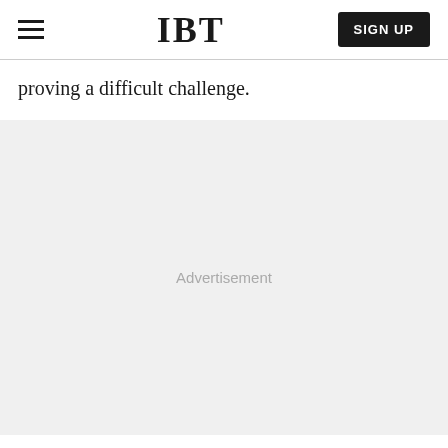IBT | SIGN UP
proving a difficult challenge.
[Figure (other): Advertisement placeholder area with light gray background and 'Advertisement' label text centered.]